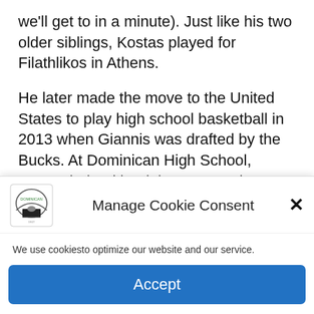we'll get to in a minute). Just like his two older siblings, Kostas played for Filathlikos in Athens.
He later made the move to the United States to play high school basketball in 2013 when Giannis was drafted by the Bucks. At Dominican High School, Kostas helped lead the team to the championship as a senior.
[Figure (screenshot): Manage Cookie Consent popup with logo, close button, descriptive text, and Accept button]
We use cookiesto optimize our website and our service.
Accept